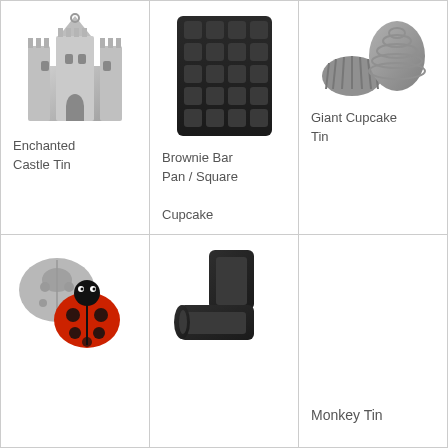[Figure (photo): Enchanted Castle shaped baking tin, silver/aluminum]
Enchanted Castle Tin
[Figure (photo): Brownie Bar Pan / Square Cupcake baking tin, dark non-stick, rectangular with square wells]
Brownie Bar Pan / Square Cupcake
[Figure (photo): Giant Cupcake Tin, two-part dark silver baking mold]
Giant Cupcake Tin
[Figure (photo): Ladybug shaped baking tin with red ladybug figurine]
[Figure (photo): Boot/stocking shaped dark non-stick baking tin]
Monkey Tin